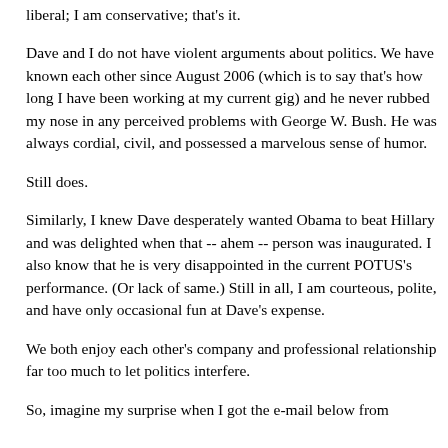liberal; I am conservative; that's it.
Dave and I do not have violent arguments about politics. We have known each other since August 2006 (which is to say that's how long I have been working at my current gig) and he never rubbed my nose in any perceived problems with George W. Bush. He was always cordial, civil, and possessed a marvelous sense of humor.
Still does.
Similarly, I knew Dave desperately wanted Obama to beat Hillary and was delighted when that -- ahem -- person was inaugurated. I also know that he is very disappointed in the current POTUS's performance. (Or lack of same.) Still in all, I am courteous, polite, and have only occasional fun at Dave's expense.
We both enjoy each other's company and professional relationship far too much to let politics interfere.
So, imagine my surprise when I got the e-mail below from